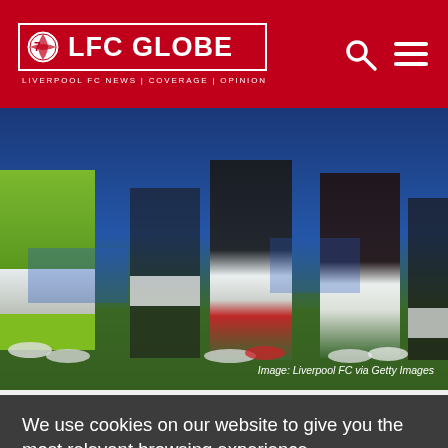LFC GLOBE — LIVERPOOL FC NEWS | COVERAGE | OPINION
[Figure (photo): Football players standing on a pitch, showing lower bodies and boots only, in front of a blue advertising board. A goalkeeper in a green kit is on the left, players in dark kits in the center and right. Image credit: Liverpool FC via Getty Images]
Image: Liverpool FC via Getty Images
We use cookies on our website to give you the most relevant browsing experience.